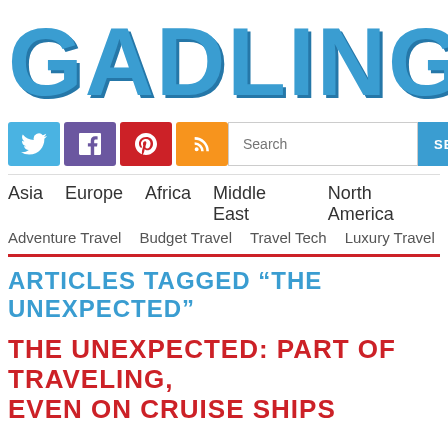GADLING
[Figure (logo): Social media icons: Twitter (blue), Facebook (purple), Pinterest (red), RSS (orange)]
Search SEARCH
Asia  Europe  Africa  Middle East  North America
Adventure Travel  Budget Travel  Travel Tech  Luxury Travel
ARTICLES TAGGED "THE UNEXPECTED"
THE UNEXPECTED: PART OF TRAVELING, EVEN ON CRUISE SHIPS